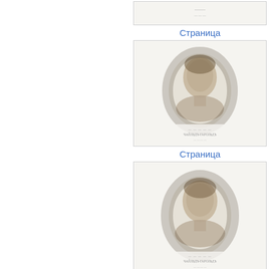[Figure (photo): Small thumbnail image at top, appears to be a book title page with faint text]
Страница
[Figure (photo): Portrait engraving of a person with text below, appears to be a historical book frontispiece]
Страница
[Figure (photo): Portrait engraving of a person with text below, similar to above, appears to be a historical book frontispiece]
Страница